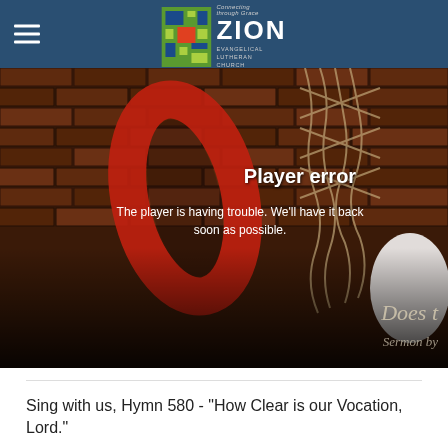Zion Evangelical Lutheran Church — Connecting through Grace
[Figure (screenshot): Video player error screen showing a brick wall background with a red life preserver ring and rope, overlaid with 'Player error' and message 'The player is having trouble. We’ll have it back soon as possible.' Dark bottom panel shows partial text 'Does t' and 'Sermon by']
Sing with us, Hymn 580 - "How Clear is our Vocation, Lord."